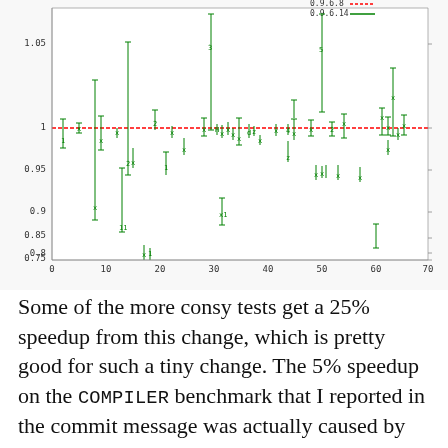[Figure (continuous-plot): Scatter plot with error bars comparing two versions (0.9.6.8 in red, 0.9.6.14 in green) across ~70 benchmarks. Y-axis ranges from 0.75 to 1.05, X-axis from 0 to 70. Red series is a near-horizontal dotted line at y=1.0. Green series shows scattered points with large error bars, several below 1.0 (some as low as 0.75) and a few above 1.0.]
Some of the more consy tests get a 25% speedup from this change, which is pretty good for such a tiny change. The 5% speedup on the COMPILER benchmark that I reported in the commit message was actually caused by some unrelated pretty-printer changes in the same tree, so the winnage